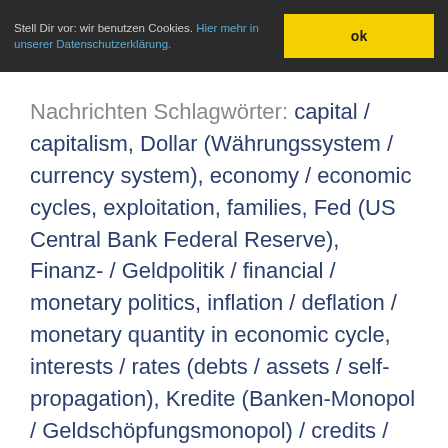Stell Dir vor: wir benutzen Cookies. Hier mehr in unserer Datenschutzerklärung. ok
Nachrichten Schlagwörter: capital / capitalism, Dollar (Währungssystem / currency system), economy / economic cycles, exploitation, families, Fed (US Central Bank Federal Reserve), Finanz- / Geldpolitik / financial / monetary politics, inflation / deflation / monetary quantity in economic cycle, interests / rates (debts / assets / self-propagation), Kredite (Banken-Monopol / Geldschöpfungsmonopol) / credits / loans